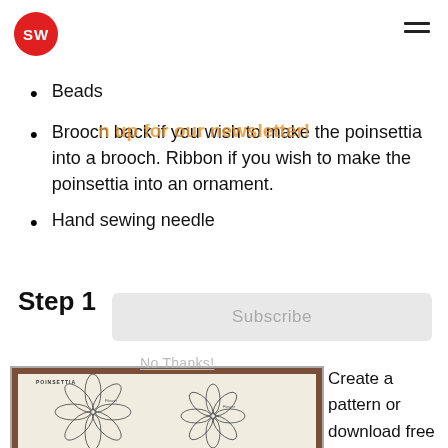SW (logo) | hamburger menu
Beads
Brooch back if you wish to make the poinsettia into a brooch. Ribbon if you wish to make the poinsettia into an ornament.
Hand sewing needle
Step 1
[Figure (photo): A printed pattern sheet labeled POINSETTIA showing two flower outline patterns on white paper against a brown background]
Create a pattern or download free patterns online. I